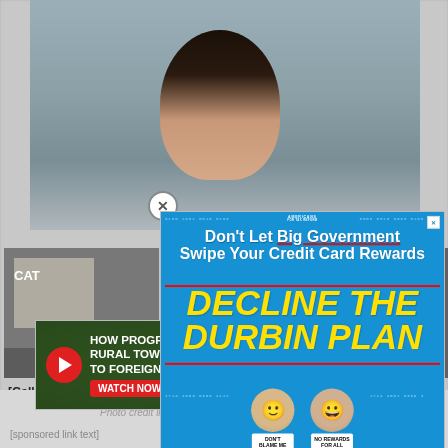[Figure (screenshot): Background webpage showing a blurred news/gallery page with a woman's face photo at top, gallery images below, with text '[Gallery]...' and 'Wore In Public']
[Figure (infographic): Main popup advertisement from Americans for Tax Reform: 'Don't Let Big Government Swipe Your Credit Card Rewards - DECLINE THE DURBIN PLAN' with caricatures of Biden and Durbin in t-shirts saying 'DON'T BLAME ME' and 'NO REWARDS FOR ALL'. Blue background with yellow bold text.]
[Figure (infographic): Bottom banner ad: 'HOW PROGRESSIVES SOLD OUT RURAL TOWNS TO FOREIGN DRUG LORDS' with NARCOFORNIA logo and WATCH NOW button]